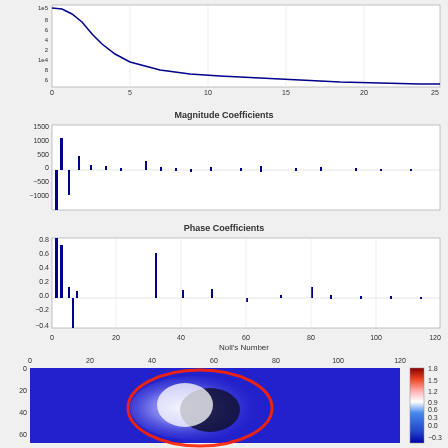[Figure (continuous-plot): Top chart: a decaying curve plot (likely singular values or eigenvalues) starting high at x=0 and rapidly decaying toward zero by x=5, then flat near zero from x=5 to x=25. Y-axis shows values from about 0 to a large number with scientific notation labels.]
[Figure (bar-chart): Bar chart of Magnitude Coefficients vs Noll's Number (0 to 120). Large negative bar near index 1-2 (around -1000), large positive bar near index 2-3 (~1500 peak), several smaller bars scattered across the range. Y range: -1000 to 1500.]
[Figure (bar-chart): Bar chart of Phase Coefficients vs Noll's Number (0 to 120). Large bars near the beginning: ~0.8 at index ~2, ~0.7 at index ~3, ~-0.4 at index ~5, smaller bars decreasing toward zero. Y range: -0.4 to 0.8.]
[Figure (other): 2D heatmap/colormap image showing a wavefront or phase map. Axes: x from 0 to 120, y from 0 to 120. Background is solid blue (~-0.3). In the center-left area, an elliptical pattern with a bright red/white ring outline and an inner pattern transitioning from white to dark blue (yin-yang-like shape). Colorbar on right ranges from -0.3 (dark blue) to 1.8 (dark red).]